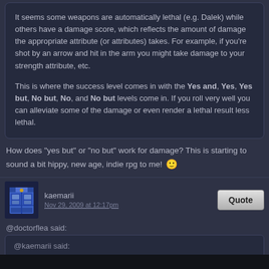It seems some weapons are automatically lethal (e.g. Dalek) while others have a damage score, which reflects the amount of damage the appropriate attribute (or attributes) takes. For example, if you're shot by an arrow and hit in the arm you might take damage to your strength attribute, etc.

This is where the success level comes in with the Yes and, Yes, Yes but, No but, No, and No but levels come in. If you roll very well you can alleviate some of the damage or even render a lethal result less lethal.
How does "yes but" or "no but" work for damage? This is starting to sound a bit hippy, new age, indie rpg to me! 🙂
kaemarii
Nov 29, 2009 at 12:17pm
@doctorflea said:
@kaemarii said: